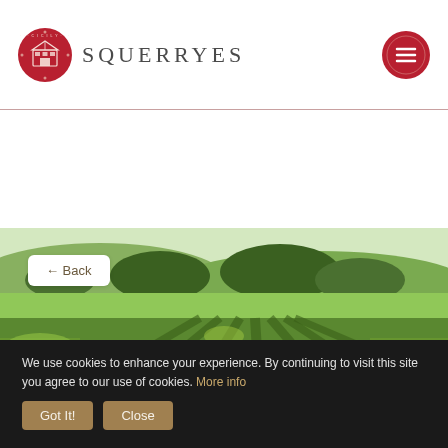SQUERRYES
[Figure (photo): Vineyard rows in foreground with lush green grapevines, trees in the middle distance, and rolling countryside hills in the background under a bright sky.]
← Back
We use cookies to enhance your experience. By continuing to visit this site you agree to our use of cookies. More info
Got It!  Close